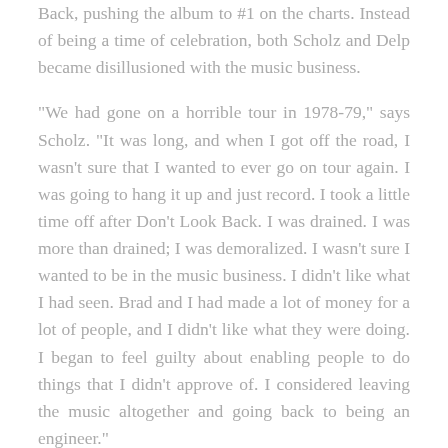Back, pushing the album to #1 on the charts. Instead of being a time of celebration, both Scholz and Delp became disillusioned with the music business.
"We had gone on a horrible tour in 1978-79," says Scholz. "It was long, and when I got off the road, I wasn't sure that I wanted to ever go on tour again. I was going to hang it up and just record. I took a little time off after Don't Look Back. I was drained. I was more than drained; I was demoralized. I wasn't sure I wanted to be in the music business. I didn't like what I had seen. Brad and I had made a lot of money for a lot of people, and I didn't like what they were doing. I began to feel guilty about enabling people to do things that I didn't approve of. I considered leaving the music altogether and going back to being an engineer."
Epic waited for Scholz to release the third Boston album, but weeks turned into months and months into years